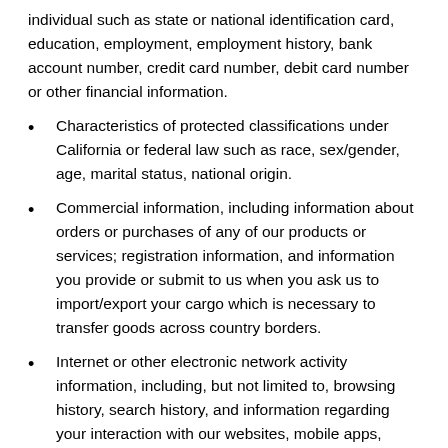individual such as state or national identification card, education, employment, employment history, bank account number, credit card number, debit card number or other financial information.
Characteristics of protected classifications under California or federal law such as race, sex/gender, age, marital status, national origin.
Commercial information, including information about orders or purchases of any of our products or services; registration information, and information you provide or submit to us when you ask us to import/export your cargo which is necessary to transfer goods across country borders.
Internet or other electronic network activity information, including, but not limited to, browsing history, search history, and information regarding your interaction with our websites, mobile apps, advertisements that we display on our websites or